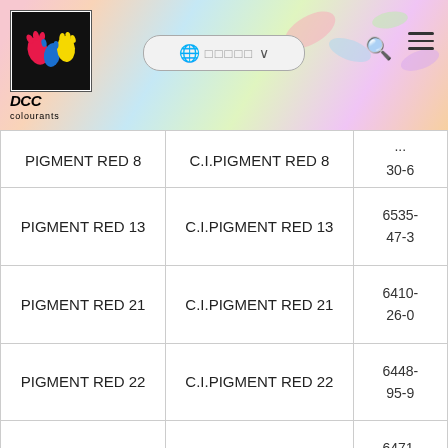DCC colourants website header with logo, navigation bar, search icon and menu icon
| Product Name | CI Name | CAS No. |
| --- | --- | --- |
| PIGMENT RED 8 | C.I.PIGMENT RED 8 | 30-6 |
| PIGMENT RED 13 | C.I.PIGMENT RED 13 | 6535-47-3 |
| PIGMENT RED 21 | C.I.PIGMENT RED 21 | 6410-26-0 |
| PIGMENT RED 22 | C.I.PIGMENT RED 22 | 6448-95-9 |
| PIGMENT RED 23 | C.I.PIGMENT RED 23 | 6471-49-4 |
| PIGMENT RED 31 | C.I.PIGMENT RED 31 | 6448-96-0 |